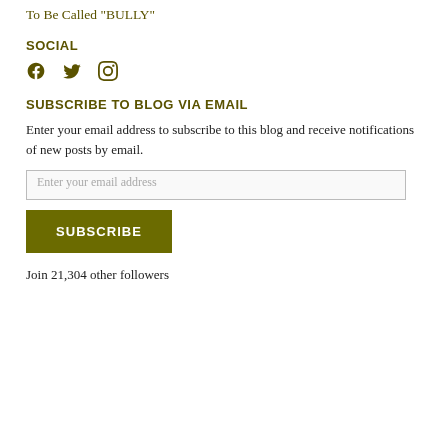To Be Called "BULLY"
SOCIAL
[Figure (illustration): Social media icons: Facebook, Twitter, Instagram in olive/dark yellow color]
SUBSCRIBE TO BLOG VIA EMAIL
Enter your email address to subscribe to this blog and receive notifications of new posts by email.
Enter your email address
SUBSCRIBE
Join 21,304 other followers